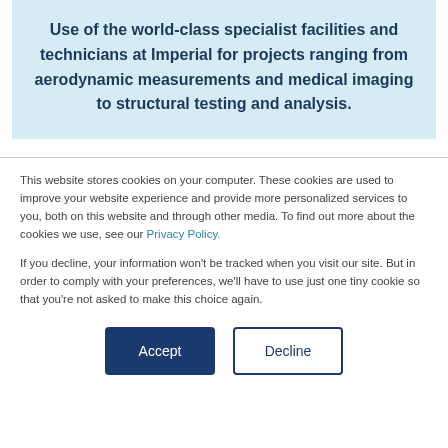Use of the world-class specialist facilities and technicians at Imperial for projects ranging from aerodynamic measurements and medical imaging to structural testing and analysis.
This website stores cookies on your computer. These cookies are used to improve your website experience and provide more personalized services to you, both on this website and through other media. To find out more about the cookies we use, see our Privacy Policy.
If you decline, your information won't be tracked when you visit our site. But in order to comply with your preferences, we'll have to use just one tiny cookie so that you're not asked to make this choice again.